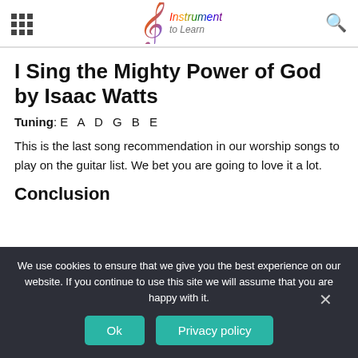Instrument to Learn — site header with navigation icons and logo
I Sing the Mighty Power of God by Isaac Watts
Tuning: E A D G B E
This is the last song recommendation in our worship songs to play on the guitar list. We bet you are going to love it a lot.
Conclusion
We use cookies to ensure that we give you the best experience on our website. If you continue to use this site we will assume that you are happy with it.